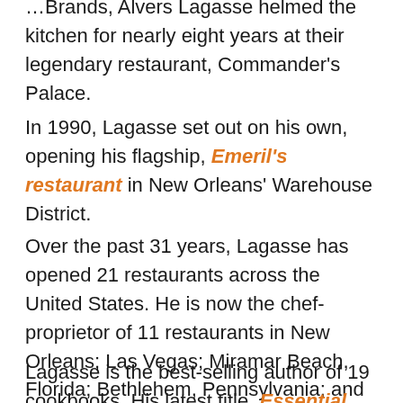…Brands, Alvers Lagasse helmed the kitchen for nearly eight years at their legendary restaurant, Commander's Palace.
In 1990, Lagasse set out on his own, opening his flagship, Emeril's restaurant in New Orleans' Warehouse District.
Over the past 31 years, Lagasse has opened 21 restaurants across the United States. He is now the chef-proprietor of 11 restaurants in New Orleans; Las Vegas; Miramar Beach, Florida; Bethlehem, Pennsylvania; and aboard Carnival Cruise Line's Mardi Gras Ship.
Lagasse is the best-selling author of 19 cookbooks. His latest title, Essential Emeril: Favorite Recipes…